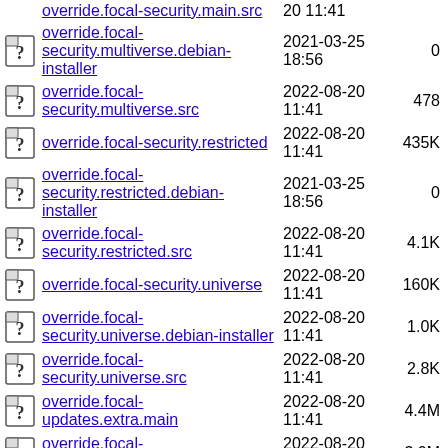override.focal-security.multiverse.debian-installer  2021-03-25 18:56  0
override.focal-security.multiverse.src  2022-08-20 11:41  478
override.focal-security.restricted  2022-08-20 11:41  435K
override.focal-security.restricted.debian-installer  2021-03-25 18:56  0
override.focal-security.restricted.src  2022-08-20 11:41  4.1K
override.focal-security.universe  2022-08-20 11:41  160K
override.focal-security.universe.debian-installer  2022-08-20 11:41  1.0K
override.focal-security.universe.src  2022-08-20 11:41  2.8K
override.focal-updates.extra.main  2022-08-20 11:41  4.4M
override.focal-updates.extra.multiverse  2022-08-20 11:41  3.0M
override.focal-updates.extra.restricted  2022-08-20 11:41  4.0M